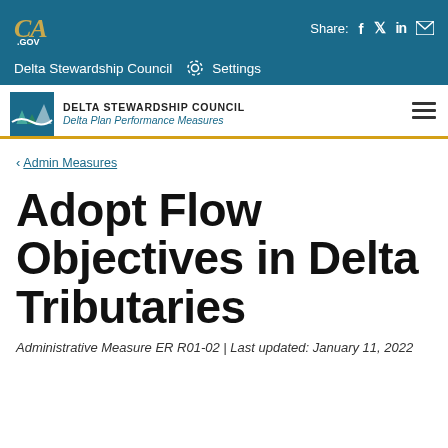CA.GOV | Share: f  in [mail]
Delta Stewardship Council | Settings
DELTA STEWARDSHIP COUNCIL | Delta Plan Performance Measures
< Admin Measures
Adopt Flow Objectives in Delta Tributaries
Administrative Measure ER R01-02 | Last updated: January 11, 2022